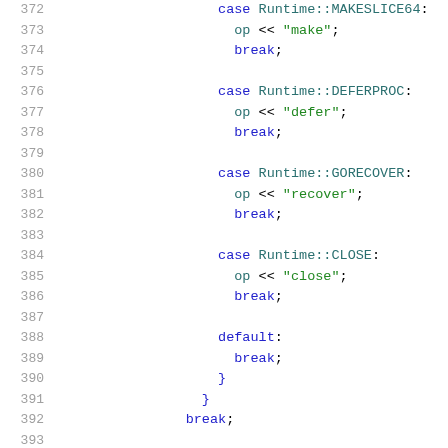[Figure (screenshot): Source code listing showing lines 372-392 of a C++ switch statement handling Runtime enum cases (MAKESLICE64, DEFERPROC, GORECOVER, CLOSE, default) with op << string operations and break statements.]